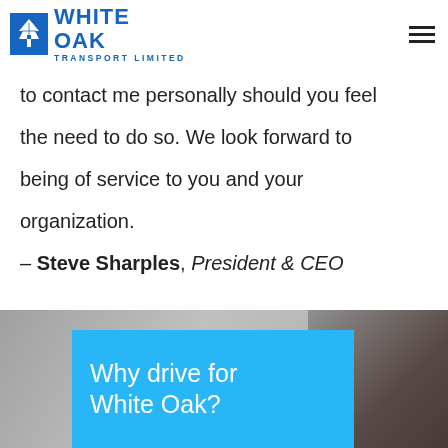[Figure (logo): White Oak Transport Limited logo with blue tree icon and blue text]
to contact me personally should you feel the need to do so. We look forward to being of service to you and your organization.
– Steve Sharples, President & CEO
[Figure (photo): Blurred background photo of a hand holding a phone, with a blue overlay box containing the text 'Why drive for White Oak?']
Why drive for White Oak?